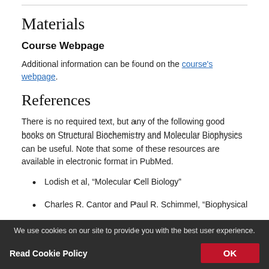Materials
Course Webpage
Additional information can be found on the course's webpage.
References
There is no required text, but any of the following good books on Structural Biochemistry and Molecular Biophysics can be useful. Note that some of these resources are available in electronic format in PubMed.
Lodish et al, “Molecular Cell Biology”
Charles R. Cantor and Paul R. Schimmel, “Biophysical
We use cookies on our site to provide you with the best user experience. Read Cookie Policy  OK